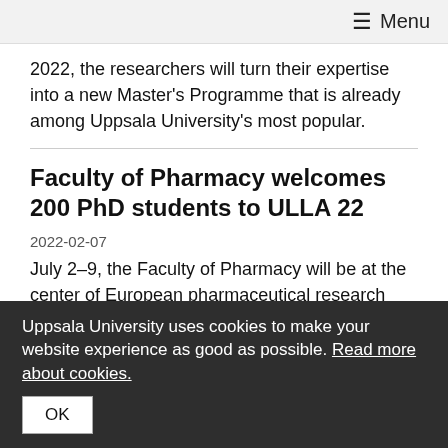≡ Menu
2022, the researchers will turn their expertise into a new Master's Programme that is already among Uppsala University's most popular.
Faculty of Pharmacy welcomes 200 PhD students to ULLA 22
2022-02-07
July 2–9, the Faculty of Pharmacy will be at the center of European pharmaceutical research when Uppsala University hosts the ULLA Summer School. "I am sure that we will all experience a unique summer school that adds important values to both tradition and future," says Ulf
Uppsala University uses cookies to make your website experience as good as possible. Read more about cookies.